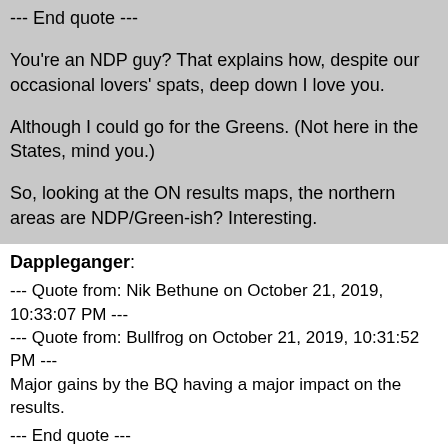--- End quote ---
You're an NDP guy?  That explains how, despite our occasional lovers' spats, deep down I love you.
Although I could go for the Greens.  (Not here in the States, mind you.)
So, looking at the ON results maps, the northern areas are NDP/Green-ish?  Interesting.
Dappleganger:
--- Quote from: Nik Bethune on October 21, 2019, 10:33:07 PM ---
--- Quote from: Bullfrog on October 21, 2019, 10:31:52 PM ---
Major gains by the BQ having a major impact on the results.
--- End quote ---
It is going to be very frustrating as a NDP voter to see a party that gets 1/3rd of their votes have more MPs and 30+ more than the Greens who also outpoll them.
Maybe this result can kick Trudeau into real election reform.
--- End quote